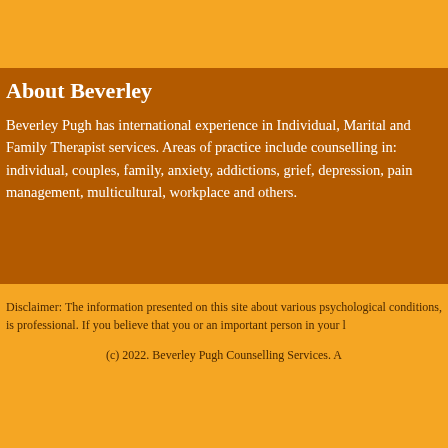About Beverley
Beverley Pugh has international experience in Individual, Marital and Family Therapist services. Areas of practice include counselling in: individual, couples, family, anxiety, addictions, grief, depression, pain management, multicultural, workplace and others.
Disclaimer: The information presented on this site about various psychological conditions, is professional. If you believe that you or an important person in your l
(c) 2022. Beverley Pugh Counselling Services. A